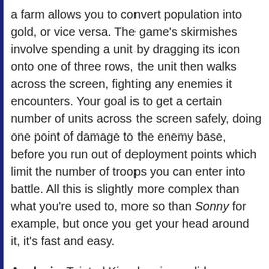a farm allows you to convert population into gold, or vice versa. The game's skirmishes involve spending a unit by dragging its icon onto one of three rows, the unit then walks across the screen, fighting any enemies it encounters. Your goal is to get a certain number of units across the screen safely, doing one point of damage to the enemy base, before you run out of deployment points which limit the number of troops you can enter into battle. All this is slightly more complex than what you're used to, more so than Sonny for example, but once you get your head around it, it's fast and easy.
Analysis: Tainted Kingdom is a solid game with great production values, yet it suffers from a few notable flaws: The game could be better balanced; the down-time buffer that keeps you from deploying soldiers at the same space consecutively could be slightly lower.